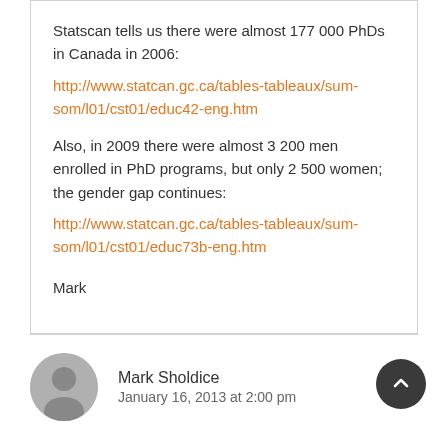Statscan tells us there were almost 177 000 PhDs in Canada in 2006: http://www.statcan.gc.ca/tables-tableaux/sum-som/l01/cst01/educ42-eng.htm
Also, in 2009 there were almost 3 200 men enrolled in PhD programs, but only 2 500 women; the gender gap continues: http://www.statcan.gc.ca/tables-tableaux/sum-som/l01/cst01/educ73b-eng.htm
Mark
Mark Sholdice
January 16, 2013 at 2:00 pm